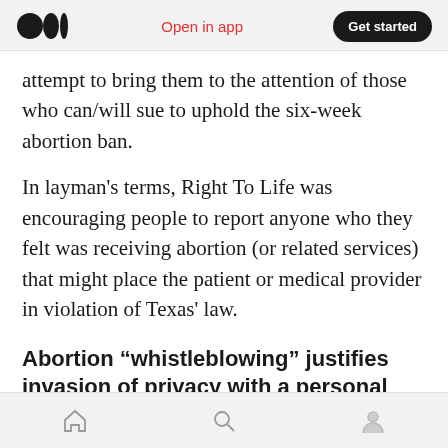Open in app  Get started
attempt to bring them to the attention of those who can/will sue to uphold the six-week abortion ban.
In layman's terms, Right To Life was encouraging people to report anyone who they felt was receiving abortion (or related services) that might place the patient or medical provider in violation of Texas' law.
Abortion “whistleblowing” justifies invasion of privacy with a personal agenda.
The Right To Life website, dubbed
Home  Search  Profile